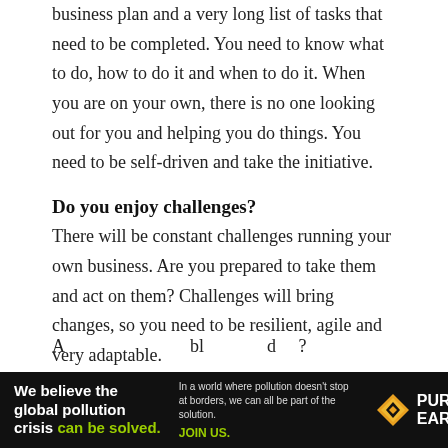business plan and a very long list of tasks that need to be completed. You need to know what to do, how to do it and when to do it. When you are on your own, there is no one looking out for you and helping you do things. You need to be self-driven and take the initiative.
Do you enjoy challenges?
There will be constant challenges running your own business. Are you prepared to take them and act on them? Challenges will bring changes, so you need to be resilient, agile and very adaptable.
[Figure (other): Advertisement banner for Pure Earth organization. Black background. Left side: bold white text 'We believe the global pollution crisis' with 'can be solved.' in green. Middle: smaller grey text 'In a world where pollution doesn't stop at borders, we can all be part of the solution.' with 'JOIN US.' in green/yellow. Right side: Pure Earth logo with orange/yellow diamond shape icon and 'PURE EARTH' in white bold text.]